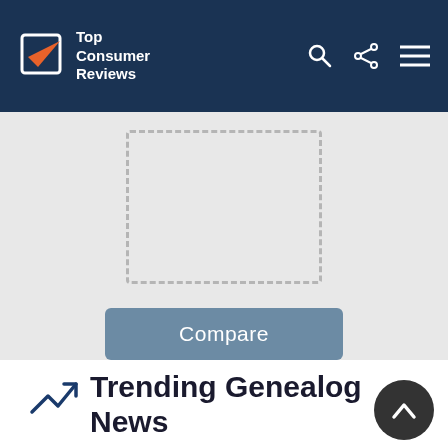Top Consumer Reviews
[Figure (screenshot): Gray section with dashed outline box for product comparison and a Compare button]
Compare
Trending Genealogy News